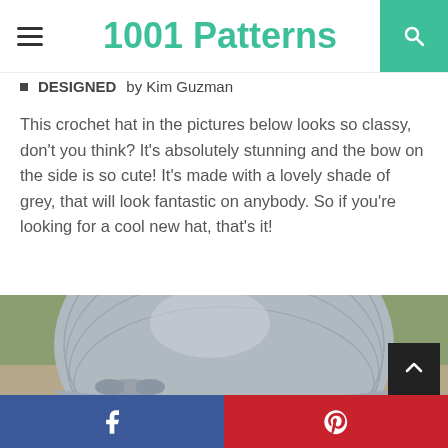1001 Patterns
DESIGNED by Kim Guzman
This crochet hat in the pictures below looks so classy, don't you think? It's absolutely stunning and the bow on the side is so cute! It's made with a lovely shade of grey, that will look fantastic on anybody. So if you're looking for a cool new hat, that's it!
[Figure (photo): Close-up top view of a grey crochet hat with textured stitches and a bow detail on the side, photographed outdoors with blurred green background.]
Facebook | Pinterest social share bar